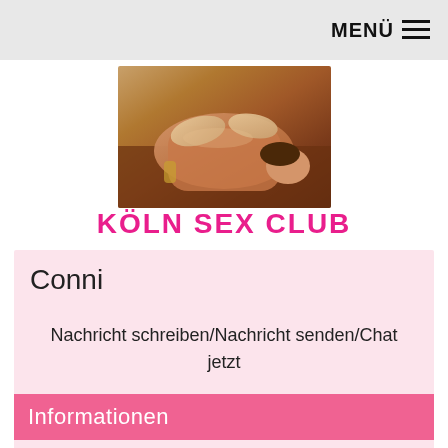MENÜ
[Figure (photo): Massage photo showing a person receiving a back massage]
KÖLN SEX CLUB
Conni
Nachricht schreiben/Nachricht senden/Chat jetzt
Informationen
Alter: 27